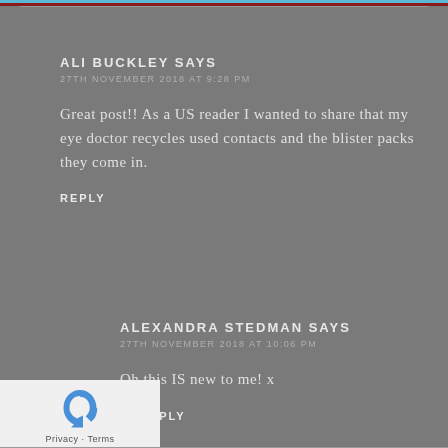ALI BUCKLEY SAYS
27TH NOVEMBER 2018 AT 9:28 PM
Great post!! As a US reader I wanted to share that my eye doctor recycles used contacts and the blister packs they come in.
REPLY
ALEXANDRA STEDMAN SAYS
27TH NOVEMBER 2018 AT 10:06 PM
Oh this IS new to me! x
REPLY